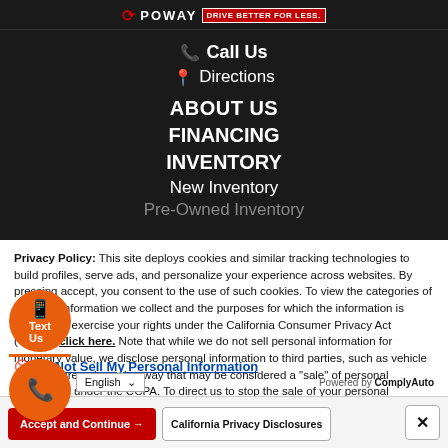[Figure (logo): Poway dealership logo with tagline DRIVE BETTER FOR LESS]
Call Us
Directions
ABOUT US
FINANCING
INVENTORY
New Inventory
Pre-Owned Inventory
Privacy Policy: This site deploys cookies and similar tracking technologies to build profiles, serve ads, and personalize your experience across websites. By pressing accept, you consent to the use of such cookies. To view the categories of personal information we collect and the purposes for which the information is used, or to exercise your rights under the California Consumer Privacy Act (CCPA), click here. Note that while we do not sell personal information for monetary value, we disclose personal information to third parties, such as vehicle manufacturers, in such a way that may be considered a "sale" of personal information under the CCPA. To direct us to stop the sale of your personal information, or to re-access these settings or disclosures at anytime, click the following icon or link:
Do Not Sell My Personal Information
Language: English
Powered by ComplyAuto
Accept and Continue →
California Privacy Disclosures
×